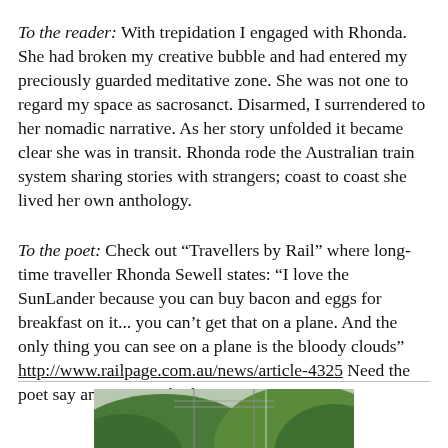To the reader: With trepidation I engaged with Rhonda. She had broken my creative bubble and had entered my preciously guarded meditative zone. She was not one to regard my space as sacrosanct. Disarmed, I surrendered to her nomadic narrative. As her story unfolded it became clear she was in transit. Rhonda rode the Australian train system sharing stories with strangers; coast to coast she lived her own anthology.
To the poet: Check out "Travellers by Rail" where long-time traveller Rhonda Sewell states: "I love the SunLander because you can buy bacon and eggs for breakfast on it... you can't get that on a plane. And the only thing you can see on a plane is the bloody clouds" http://www.railpage.com.au/news/article-4325 Need the poet say anymore? I think not.
[Figure (photo): A yellow locomotive train coming toward the viewer on tracks, surrounded by green hills and trees, with overhead wires visible. A speed sign showing 120/150 is visible on the right.]